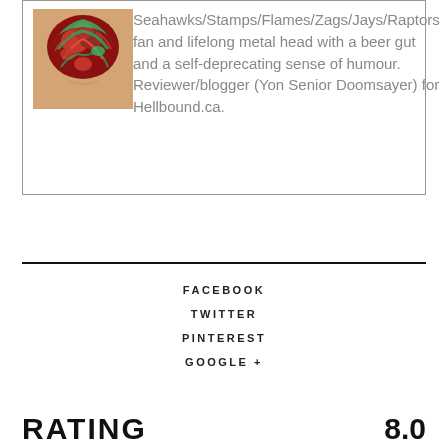[Figure (photo): Profile photo showing a person with a tattoo visible on the back of their neck/head area, colorful red and green tattoo]
Seahawks/Stamps/Flames/Zags/Jays/Raptors fan and lifelong metal head with a beer gut and a self-deprecating sense of humour. Reviewer/blogger (Yon Senior Doomsayer) for Hellbound.ca.
FACEBOOK
TWITTER
PINTEREST
GOOGLE +
RATING
8.0